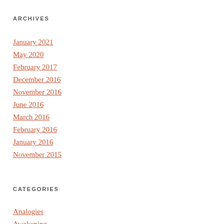ARCHIVES
January 2021
May 2020
February 2017
December 2016
November 2016
June 2016
March 2016
February 2016
January 2016
November 2015
CATEGORIES
Analogies
Awakening